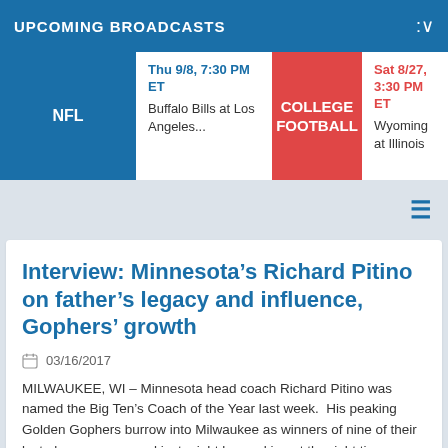UPCOMING BROADCASTS
| Sport | Game Info |
| --- | --- |
| NFL | Thu 9/8, 7:30 PM ET
Buffalo Bills at Los Angeles... |
| COLLEGE FOOTBALL | Sat 8/27, 3:30 PM ET
Wyoming at Illinois |
Interview: Minnesota’s Richard Pitino on father’s legacy and influence, Gophers’ growth
03/16/2017
MILWAUKEE, WI – Minnesota head coach Richard Pitino was named the Big Ten’s Coach of the Year last week.  His peaking Golden Gophers burrow into Milwaukee as winners of nine of their last eleven games and just might be peaking at the right time.